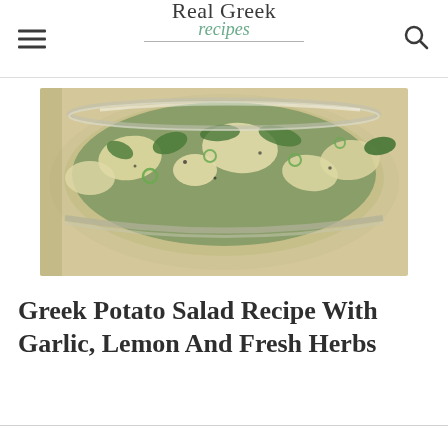Real Greek recipes
[Figure (photo): Close-up of a glass bowl filled with Greek potato salad — chunks of boiled potato tossed with chopped green herbs (parsley, dill, spring onion) and black pepper, seen from above at a slight angle.]
Greek Potato Salad Recipe With Garlic, Lemon And Fresh Herbs